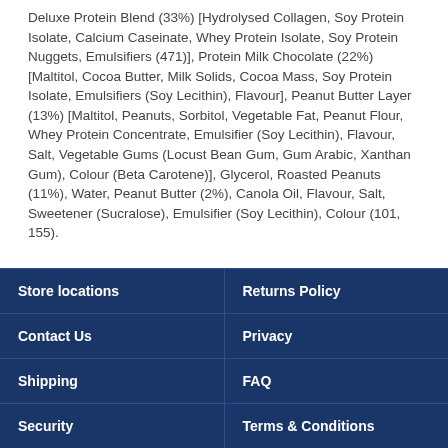Deluxe Protein Blend (33%) [Hydrolysed Collagen, Soy Protein Isolate, Calcium Caseinate, Whey Protein Isolate, Soy Protein Nuggets, Emulsifiers (471)], Protein Milk Chocolate (22%) [Maltitol, Cocoa Butter, Milk Solids, Cocoa Mass, Soy Protein Isolate, Emulsifiers (Soy Lecithin), Flavour], Peanut Butter Layer (13%) [Maltitol, Peanuts, Sorbitol, Vegetable Fat, Peanut Flour, Whey Protein Concentrate, Emulsifier (Soy Lecithin), Flavour, Salt, Vegetable Gums (Locust Bean Gum, Gum Arabic, Xanthan Gum), Colour (Beta Carotene)], Glycerol, Roasted Peanuts (11%), Water, Peanut Butter (2%), Canola Oil, Flavour, Salt, Sweetener (Sucralose), Emulsifier (Soy Lecithin), Colour (101, 155).
Contains: Contains: Milk, Peanuts and Soy products
May Contain: Sesame, Wheat and Tree Nuts.
Store locations | Returns Policy | Contact Us | Privacy | Shipping | FAQ | Security | Terms & Conditions